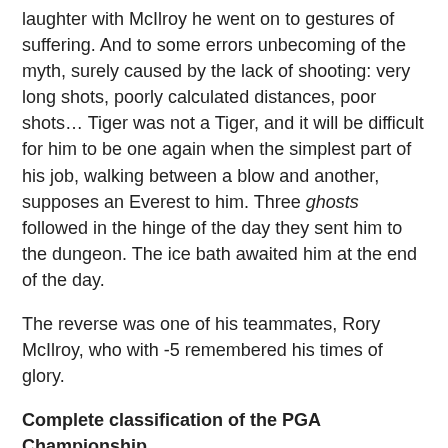laughter with McIlroy he went on to gestures of suffering. And to some errors unbecoming of the myth, surely caused by the lack of shooting: very long shots, poorly calculated distances, poor shots… Tiger was not a Tiger, and it will be difficult for him to be one again when the simplest part of his job, walking between a blow and another, supposes an Everest to him. Three ghosts followed in the hinge of the day they sent him to the dungeon. The ice bath awaited him at the end of the day.
The reverse was one of his teammates, Rory McIlroy, who with -5 remembered his times of glory.
Complete classification of the PGA Championship.
You can follow EL PAÍS Sports in Facebook Y Twitter signing up here to receive our weekly newsletter.